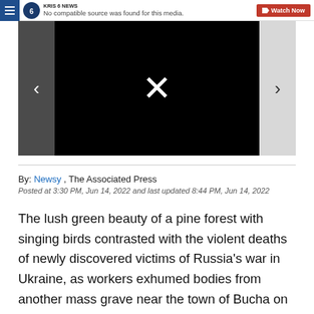KRIS 6 NEWS | No compatible source was found for this media. | Watch Now
[Figure (screenshot): Black video player area with white X mark in center, left and right navigation arrows on sides]
By: Newsy , The Associated Press
Posted at 3:30 PM, Jun 14, 2022 and last updated 8:44 PM, Jun 14, 2022
The lush green beauty of a pine forest with singing birds contrasted with the violent deaths of newly discovered victims of Russia's war in Ukraine, as workers exhumed bodies from another mass grave near the town of Bucha on Kyiv's outskirts.